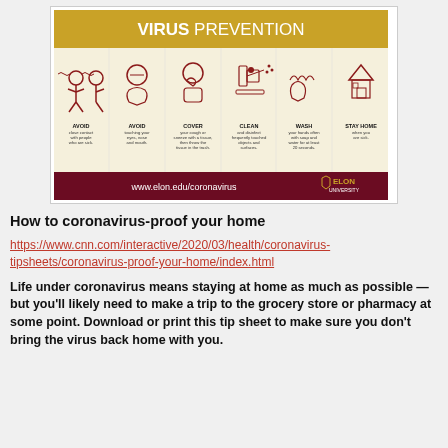[Figure (infographic): Virus Prevention infographic from Elon University showing 6 tips: AVOID close contact with people who are sick, AVOID touching your eyes nose and mouth, COVER your cough or sneeze with a tissue then throw the tissue in the trash, CLEAN and disinfect frequently touched objects and surfaces, WASH your hands often with soap and water for at least 20 seconds, STAY HOME when you are sick. Bottom bar shows www.elon.edu/coronavirus and Elon University logo.]
How to coronavirus-proof your home
https://www.cnn.com/interactive/2020/03/health/coronavirus-tipsheets/coronavirus-proof-your-home/index.html
Life under coronavirus means staying at home as much as possible — but you'll likely need to make a trip to the grocery store or pharmacy at some point. Download or print this tip sheet to make sure you don't bring the virus back home with you.